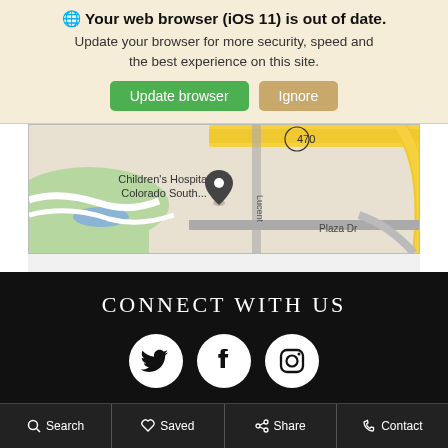🌐 Your web browser (iOS 11) is out of date. Update your browser for more security, speed and the best experience on this site.
Update browser | Ignore
[Figure (map): Google Maps screenshot showing Children's Hospital Colorado South location near route 470 and Plaza Dr, Lucent Blvd]
CONNECT WITH US
[Figure (infographic): Social media icons: Twitter, Facebook, Instagram in white circles on black background]
[Figure (infographic): Floating action buttons: orange chat/speech bubble button and dark phone/messaging button]
Search | Saved | Share | Contact